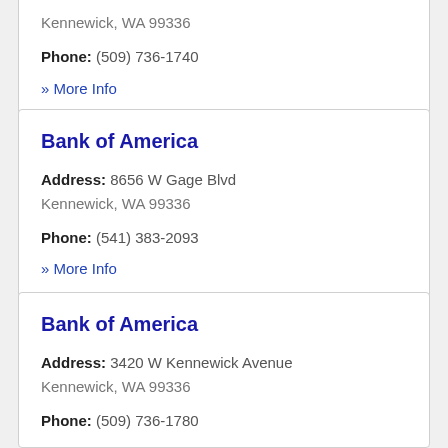Kennewick, WA 99336
Phone: (509) 736-1740
» More Info
Bank of America
Address: 8656 W Gage Blvd Kennewick, WA 99336
Phone: (541) 383-2093
» More Info
Bank of America
Address: 3420 W Kennewick Avenue Kennewick, WA 99336
Phone: (509) 736-1780